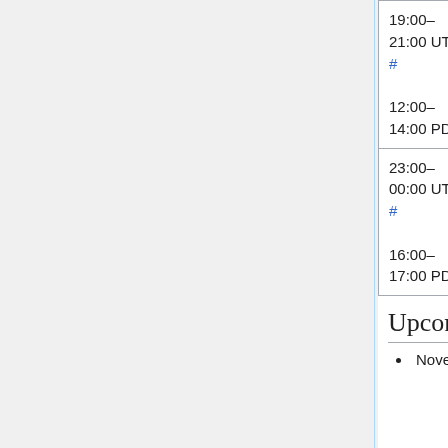| Time | Event | People |
| --- | --- | --- |
| 19:00–21:00 UTC #
12:00–14:00 PDT | MediaWiki train - American version | Dan (marxare...) |
| 23:00–00:00 UTC #
16:00–17:00 PDT | Evening SWAT (Max 6 patches) | Max (MaxSem), (RoanKattouw...) Niharika (Niharika), M... (Urbanecm) |
Upcoming
November 11 (Veterans' Day) - US Staff